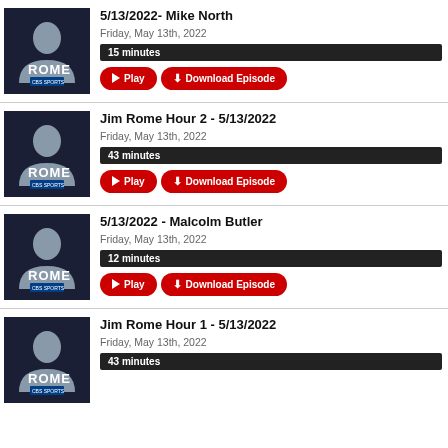5/13/2022- Mike North | Friday, May 13th, 2022 | 15 minutes
Jim Rome Hour 2 - 5/13/2022 | Friday, May 13th, 2022 | 43 minutes
5/13/2022 - Malcolm Butler | Friday, May 13th, 2022 | 12 minutes
Jim Rome Hour 1 - 5/13/2022 | Friday, May 13th, 2022 | 43 minutes